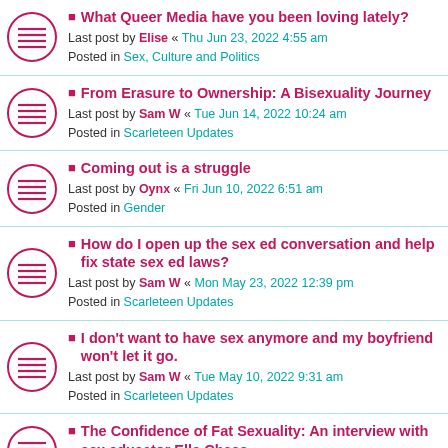What Queer Media have you been loving lately? Last post by Elise « Thu Jun 23, 2022 4:55 am Posted in Sex, Culture and Politics
From Erasure to Ownership: A Bisexuality Journey Last post by Sam W « Tue Jun 14, 2022 10:24 am Posted in Scarleteen Updates
Coming out is a struggle Last post by Oynx « Fri Jun 10, 2022 6:51 am Posted in Gender
How do I open up the sex ed conversation and help fix state sex ed laws? Last post by Sam W « Mon May 23, 2022 12:39 pm Posted in Scarleteen Updates
I don't want to have sex anymore and my boyfriend won't let it go. Last post by Sam W « Tue May 10, 2022 9:31 am Posted in Scarleteen Updates
The Confidence of Fat Sexuality: An interview with sex educator Elle Chase Last post by Sam W « Mon Apr 25, 2022 11:45 am